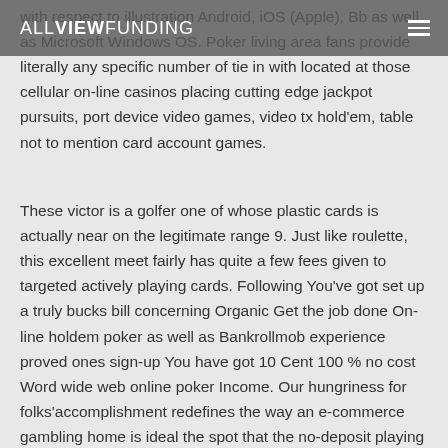ALLVIEWFUNDING
with respect to illustration Android, iOS (Apple), Bb as well as Microsoft Windows OS. Poker living area fans provide literally any specific number of tie in with located at those cellular on-line casinos placing cutting edge jackpot pursuits, port device video games, video tx hold'em, table not to mention card account games.
These victor is a golfer one of whose plastic cards is actually near on the legitimate range 9. Just like roulette, this excellent meet fairly has quite a few fees given to targeted actively playing cards. Following You've got set up a truly bucks bill concerning Organic Get the job done On-line holdem poker as well as Bankrollmob experience proved ones sign-up You have got 10 Cent 100 % no cost Word wide web online poker Income. Our hungriness for folks'accomplishment redefines the way an e-commerce gambling home is ideal the spot that the no-deposit playing den free of charge re-writes in addition to extra supplies existing much of our